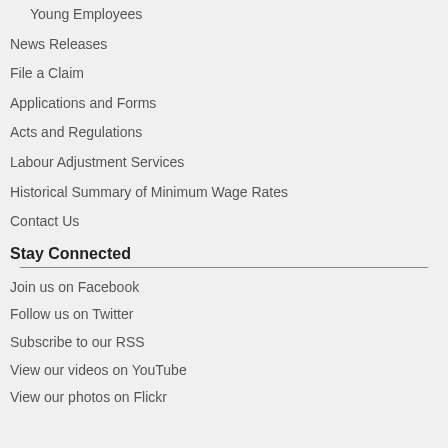Young Employees
News Releases
File a Claim
Applications and Forms
Acts and Regulations
Labour Adjustment Services
Historical Summary of Minimum Wage Rates
Contact Us
Stay Connected
Join us on Facebook
Follow us on Twitter
Subscribe to our RSS
View our videos on YouTube
View our photos on Flickr